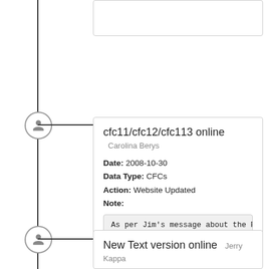cfc11/cfc12/cfc113 online Carolina Berys
Date: 2008-10-30
Data Type: CFCs
Action: Website Updated
Note:
As per Jim's message about the P06W (49NZ20
New Text version online Jerry Kappa
Date: 2008-10-29
Data Type: CrsRpt